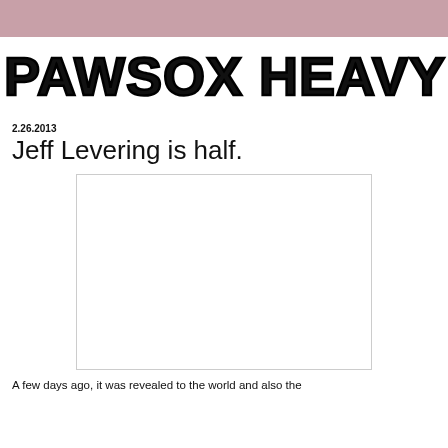PAWSOX HEAVY
2.26.2013
Jeff Levering is half.
[Figure (other): Blank white image placeholder with light gray border]
A few days ago, it was revealed to the world and also the